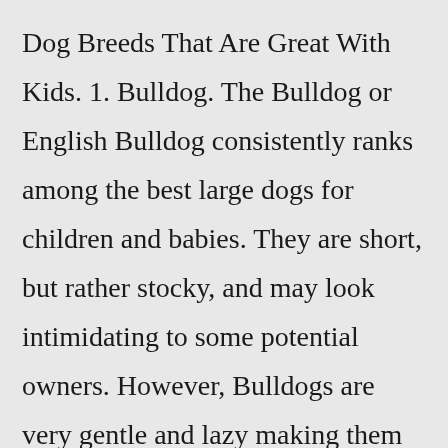Dog Breeds That Are Great With Kids. 1. Bulldog. The Bulldog or English Bulldog consistently ranks among the best large dogs for children and babies. They are short, but rather stocky, and may look intimidating to some potential owners. However, Bulldogs are very gentle and lazy making them excellent family companions ...Aug 05, 2021 · Pomeranian. Credit: Pattarawat / Getty Images. The Pomeranian